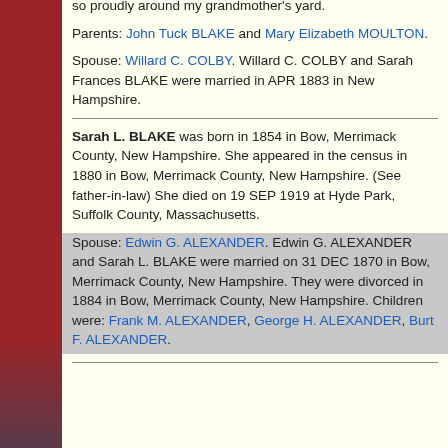so proudly around my grandmother's yard.
Parents: John Tuck BLAKE and Mary Elizabeth MOULTON.
Spouse: Willard C. COLBY. Willard C. COLBY and Sarah Frances BLAKE were married in APR 1883 in New Hampshire.
Sarah L. BLAKE was born in 1854 in Bow, Merrimack County, New Hampshire. She appeared in the census in 1880 in Bow, Merrimack County, New Hampshire. (See father-in-law) She died on 19 SEP 1919 at Hyde Park, Suffolk County, Massachusetts.
Spouse: Edwin G. ALEXANDER. Edwin G. ALEXANDER and Sarah L. BLAKE were married on 31 DEC 1870 in Bow, Merrimack County, New Hampshire. They were divorced in 1884 in Bow, Merrimack County, New Hampshire. Children were: Frank M. ALEXANDER, George H. ALEXANDER, Burt F. ALEXANDER.